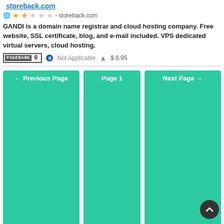storeback.com
★★☆☆☆ - storeback.com
GANDI is a domain name registrar and cloud hosting company. Free website, SSL certificate, blog, and e-mail included. VPS dedicated virtual servers, cloud hosting.
PAGERANK 0   Not Applicable   $ 8.95
← Previous Page   Page 1   Next Page →
Speed Up Your Website Here
W3Flip > Buy or Sell Website & Domain
[Figure (logo): Social Media Core.com logo with social media icons (Instagram, YouTube, Google+, Facebook, Twitter) and tagline Targeted Social Media Services]
Buy high quality Website Traffic here!
Audit My Site here!